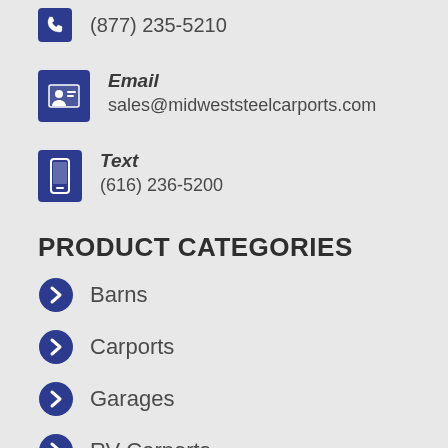(877) 235-5210
Email
sales@midweststeelcarports.com
Text
(616) 236-5200
PRODUCT CATEGORIES
Barns
Carports
Garages
RV Carports